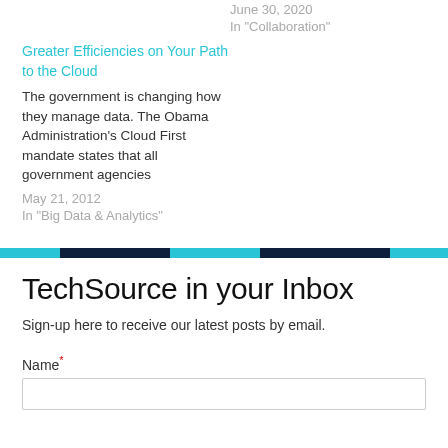June 30, 2020
In "Collaboration"
Greater Efficiencies on Your Path to the Cloud
The government is changing how they manage data. The Obama Administration's Cloud First mandate states that all government agencies
May 21, 2012
In "Big Data & Analytics"
TechSource in your Inbox
Sign-up here to receive our latest posts by email.
Name*